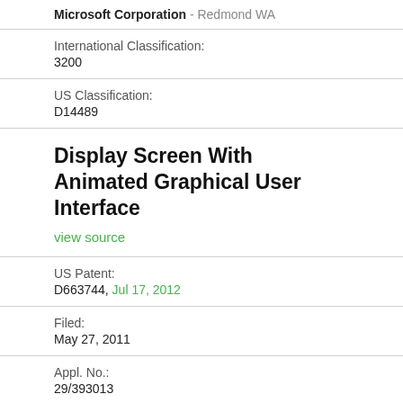Microsoft Corporation - Redmond WA
International Classification:
3200
US Classification:
D14489
Display Screen With Animated Graphical User Interface
view source
US Patent:
D663744, Jul 17, 2012
Filed:
May 27, 2011
Appl. No.:
29/393013